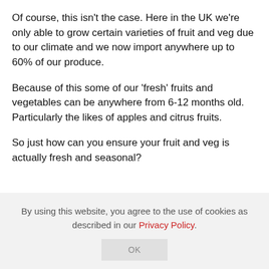Of course, this isn't the case. Here in the UK we're only able to grow certain varieties of fruit and veg due to our climate and we now import anywhere up to 60% of our produce.
Because of this some of our ‘fresh’ fruits and vegetables can be anywhere from 6-12 months old. Particularly the likes of apples and citrus fruits.
So just how can you ensure your fruit and veg is actually fresh and seasonal?
By using this website, you agree to the use of cookies as described in our Privacy Policy.